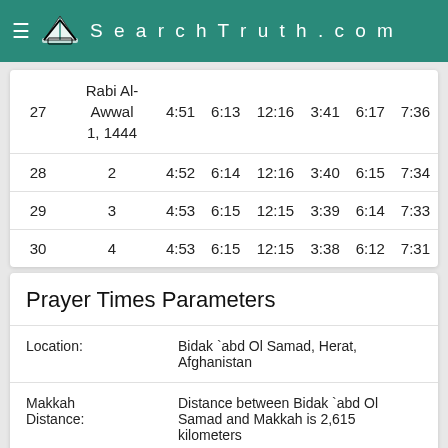SearchTruth.com
| Day | Hijri | Fajr | Sunrise | Dhuhr | Asr | Maghrib | Isha |
| --- | --- | --- | --- | --- | --- | --- | --- |
| 27 | Rabi Al-Awwal 1, 1444 | 4:51 | 6:13 | 12:16 | 3:41 | 6:17 | 7:36 |
| 28 | 2 | 4:52 | 6:14 | 12:16 | 3:40 | 6:15 | 7:34 |
| 29 | 3 | 4:53 | 6:15 | 12:15 | 3:39 | 6:14 | 7:33 |
| 30 | 4 | 4:53 | 6:15 | 12:15 | 3:38 | 6:12 | 7:31 |
Prayer Times Parameters
| Parameter | Value |
| --- | --- |
| Location: | Bidak `abd Ol Samad, Herat, Afghanistan |
| Makkah Distance: | Distance between Bidak `abd Ol Samad and Makkah is 2,615 kilometers |